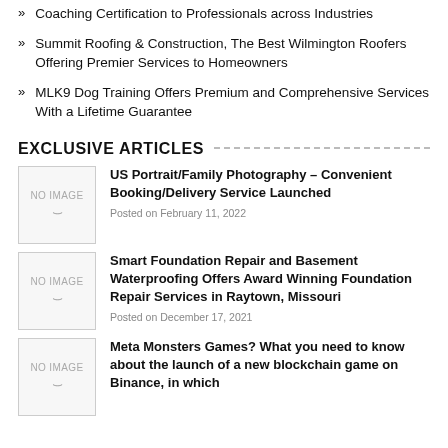Coaching Certification to Professionals across Industries
Summit Roofing & Construction, The Best Wilmington Roofers Offering Premier Services to Homeowners
MLK9 Dog Training Offers Premium and Comprehensive Services With a Lifetime Guarantee
EXCLUSIVE ARTICLES
US Portrait/Family Photography – Convenient Booking/Delivery Service Launched
Posted on February 11, 2022
Smart Foundation Repair and Basement Waterproofing Offers Award Winning Foundation Repair Services in Raytown, Missouri
Posted on December 17, 2021
Meta Monsters Games? What you need to know about the launch of a new blockchain game on Binance, in which